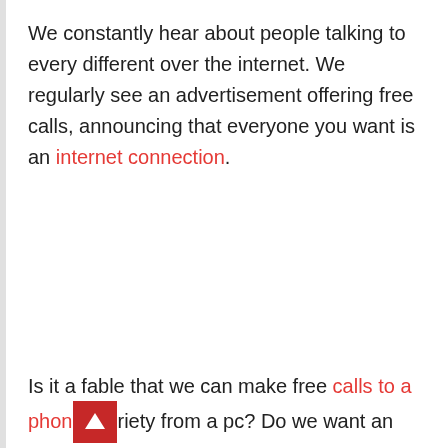We constantly hear about people talking to every different over the internet. We regularly see an advertisement offering free calls, announcing that everyone you want is an internet connection.
Is it a fable that we can make free calls to a phone variety from a pc? Do we want an internet telephone line to an